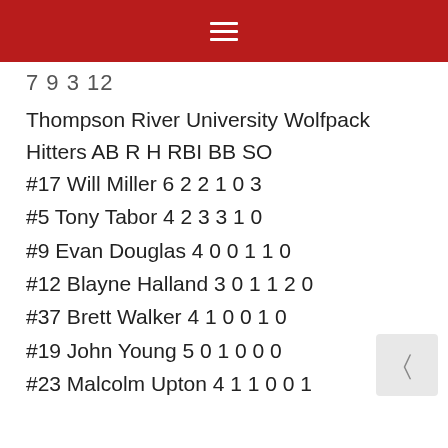≡ (hamburger menu on red bar)
7 9 3 12
Thompson River University Wolfpack
Hitters AB R H RBI BB SO
#17 Will Miller 6 2 2 1 0 3
#5 Tony Tabor 4 2 3 3 1 0
#9 Evan Douglas 4 0 0 1 1 0
#12 Blayne Halland 3 0 1 1 2 0
#37 Brett Walker 4 1 0 0 1 0
#19 John Young 5 0 1 0 0 0
#23 Malcolm Upton 4 1 1 0 0 1